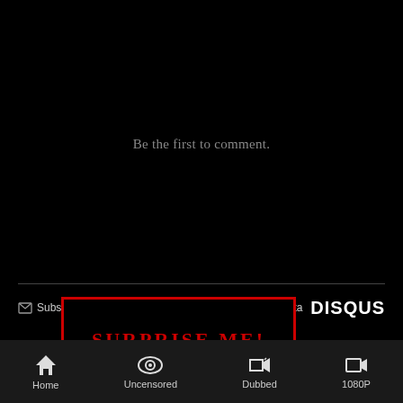Be the first to comment.
[Figure (screenshot): Disqus comment section footer bar with Subscribe, Add Disqus, Do Not Sell My Data links and DISQUS logo]
[Figure (other): SURPRISE ME! button with red border on black background]
Home   Uncensored   Dubbed   1080P